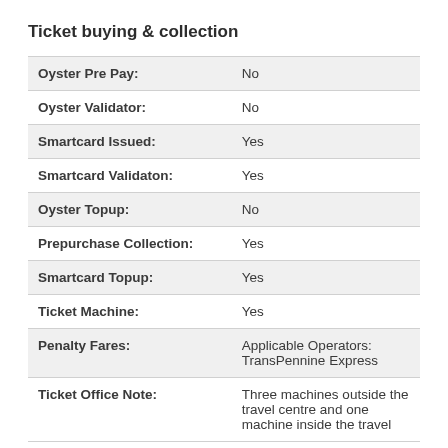Ticket buying & collection
| Oyster Pre Pay: | No |
| Oyster Validator: | No |
| Smartcard Issued: | Yes |
| Smartcard Validaton: | Yes |
| Oyster Topup: | No |
| Prepurchase Collection: | Yes |
| Smartcard Topup: | Yes |
| Ticket Machine: | Yes |
| Penalty Fares: | Applicable Operators: TransPennine Express |
| Ticket Office Note: | Three machines outside the travel centre and one machine inside the travel |